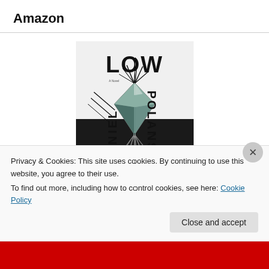Amazon
[Figure (photo): Book cover of 'LOW' by Daniel Polansky. The cover features a geometric crystal/diamond shape with spiky protrusions against a white and dark background. The word 'LOW' appears in large black bold letters at the top, 'DANIEL' appears vertically on the left side, and 'POLANSKY' appears vertically on the right side.]
Privacy & Cookies: This site uses cookies. By continuing to use this website, you agree to their use.
To find out more, including how to control cookies, see here: Cookie Policy